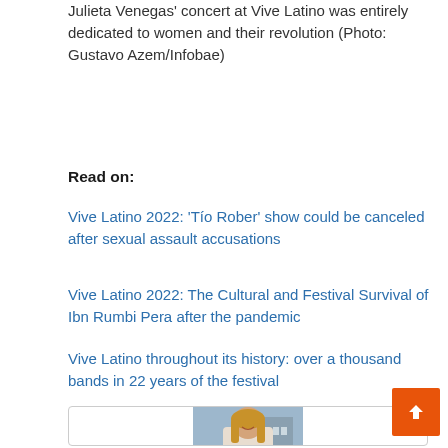Julieta Venegas' concert at Vive Latino was entirely dedicated to women and their revolution (Photo: Gustavo Azem/Infobae)
Read on:
Vive Latino 2022: ‘Tío Rober’ show could be canceled after sexual assault accusations
Vive Latino 2022: The Cultural and Festival Survival of Ibn Rumbi Pera after the pandemic
Vive Latino throughout its history: over a thousand bands in 22 years of the festival
[Figure (photo): Photo of a smiling young woman with long blonde hair, wearing a light-colored top, outdoors with a city/building background.]